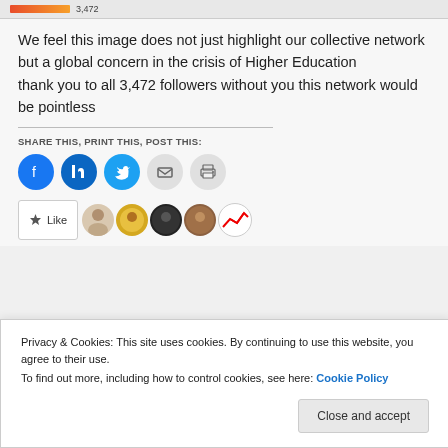[Figure (other): Top bar with red-orange gradient bar and number 3,472]
We feel this image does not just highlight our collective network but a global concern in the crisis of Higher Education
thank you to all 3,472 followers without you this network would be pointless
SHARE THIS, PRINT THIS, POST THIS:
[Figure (other): Row of social share icon buttons: Facebook, LinkedIn, Twitter, Email, Print]
[Figure (other): WordPress Like button with star icon and row of follower avatars]
Privacy & Cookies: This site uses cookies. By continuing to use this website, you agree to their use.
To find out more, including how to control cookies, see here: Cookie Policy